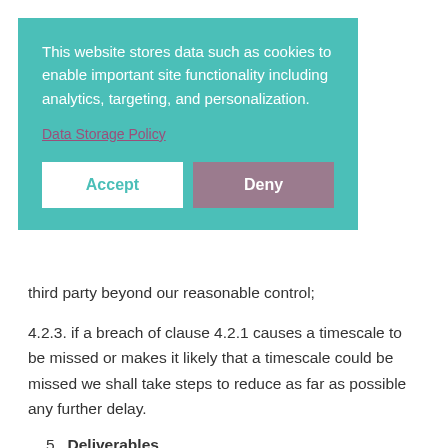for the agreement rs to tended by by any third party beyond our reasonable control;
[Figure (screenshot): Cookie consent overlay with teal background. Text reads: 'This website stores data such as cookies to enable important site functionality including analytics, targeting, and personalization.' Link: 'Data Storage Policy'. Buttons: 'Accept' (white) and 'Deny' (mauve).]
4.2.3. if a breach of clause 4.2.1 causes a timescale to be missed or makes it likely that a timescale could be missed we shall take steps to reduce as far as possible any further delay.
5. Deliverables